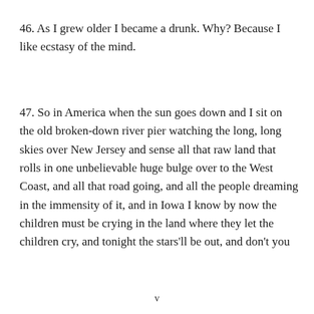46. As I grew older I became a drunk. Why? Because I like ecstasy of the mind.
47. So in America when the sun goes down and I sit on the old broken-down river pier watching the long, long skies over New Jersey and sense all that raw land that rolls in one unbelievable huge bulge over to the West Coast, and all that road going, and all the people dreaming in the immensity of it, and in Iowa I know by now the children must be crying in the land where they let the children cry, and tonight the stars'll be out, and don't you know that God is Pooh Bear? the evening star must be drooping and shedding her sparkler dims on the prairie, which is just before the coming of
v